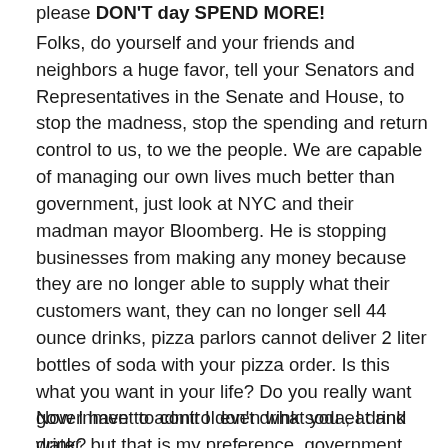please DON'T day SPEND MORE!
Folks, do yourself and your friends and neighbors a huge favor, tell your Senators and Representatives in the Senate and House, to stop the madness, stop the spending and return control to us, to we the people. We are capable of managing our own lives much better than government, just look at NYC and their madman mayor Bloomberg. He is stopping businesses from making any money because they are no longer able to supply what their customers want, they can no longer sell 44 ounce drinks, pizza parlors cannot deliver 2 liter bottles of soda with your pizza order. Is this what you want in your life? Do you really want government to control even what you eat and drink?
Now I have to admit I don't drink soda, I drink water, but that is my preference, government did not order me to